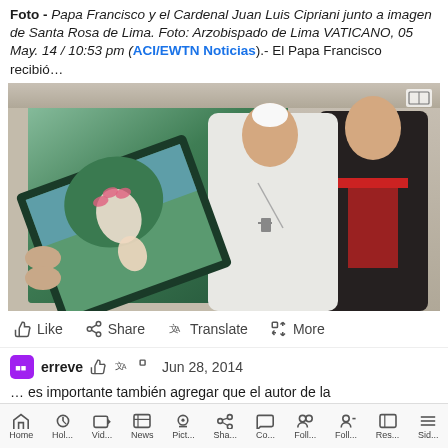Foto - Papa Francisco y el Cardenal Juan Luis Cipriani junto a imagen de Santa Rosa de Lima. Foto: Arzobispado de Lima VATICANO, 05 May. 14 / 10:53 pm (ACI/EWTN Noticias).- El Papa Francisco recibió…
[Figure (photo): Photo of Pope Francis in white robes and a Cardinal in black and red vestments holding/presenting a painting of Santa Rosa de Lima (Virgin Mary with child) in an ornate room.]
Like  Share  Translate  More
erreve  Jun 28, 2014
… es importante también agregar que el autor de la
Home  Hol...  Vid...  News  Pict...  Sha...  Co...  Foll...  Foll...  Res...  Sid...